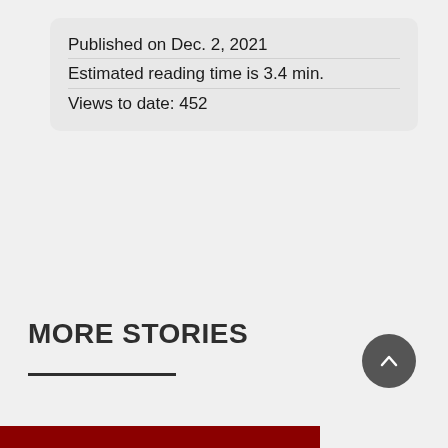Published on Dec. 2, 2021
Estimated reading time is 3.4 min.
Views to date: 452
MORE STORIES